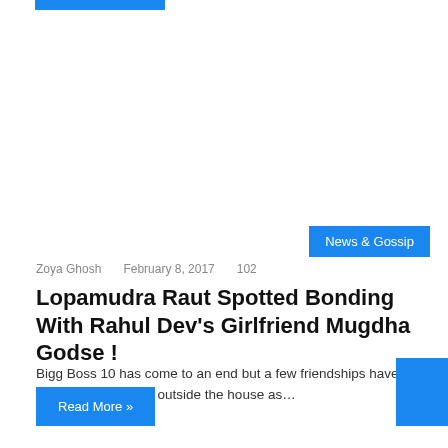News & Gossip
Zoya Ghosh   February 8, 2017   102
Lopamudra Raut Spotted Bonding With Rahul Dev's Girlfriend Mugdha Godse !
Bigg Boss 10 has come to an end but a few friendships have managed to survive outside the house as…
Read More »